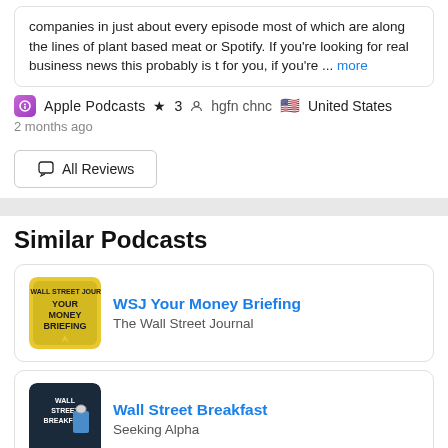companies in just about every episode most of which are along the lines of plant based meat or Spotify. If you're looking for real business news this probably is t for you, if you're ... more
Apple Podcasts  ★ 3  hgfn chnc  🇺🇸 United States
2 months ago
All Reviews
Similar Podcasts
WSJ Your Money Briefing
The Wall Street Journal
Wall Street Breakfast
Seeking Alpha